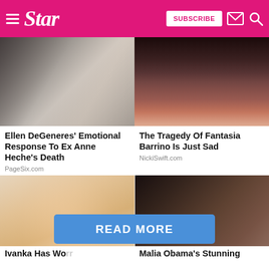Star — SUBSCRIBE [envelope] [search]
[Figure (photo): Two blonde women photographed together, partially cropped — top portion visible]
[Figure (photo): Close-up of a Black woman's face, lower half, with pink lip gloss and pink earrings]
Ellen DeGeneres' Emotional Response To Ex Anne Heche's Death
PageSix.com
The Tragedy Of Fantasia Barrino Is Just Sad
NickiSwift.com
[Figure (photo): Blonde woman smiling at camera — Ivanka Trump]
[Figure (photo): Young Black woman and man posing together — Malia Obama and companion]
Ivanka Has Wo...
Malia Obama's Stunning...
READ MORE